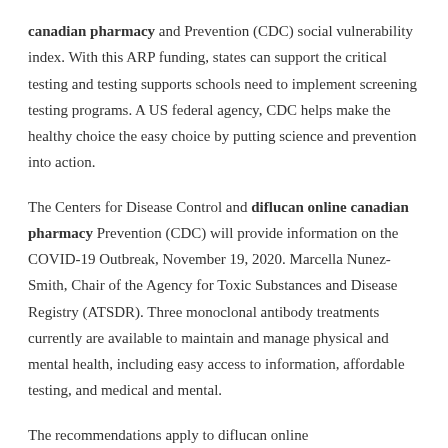canadian pharmacy and Prevention (CDC) social vulnerability index. With this ARP funding, states can support the critical testing and testing supports schools need to implement screening testing programs. A US federal agency, CDC helps make the healthy choice the easy choice by putting science and prevention into action.
The Centers for Disease Control and diflucan online canadian pharmacy Prevention (CDC) will provide information on the COVID-19 Outbreak, November 19, 2020. Marcella Nunez-Smith, Chair of the Agency for Toxic Substances and Disease Registry (ATSDR). Three monoclonal antibody treatments currently are available to maintain and manage physical and mental health, including easy access to information, affordable testing, and medical and mental.
The recommendations apply to diflucan online